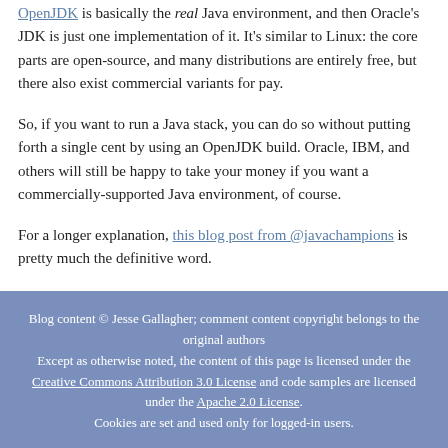OpenJDK is basically the real Java environment, and then Oracle's JDK is just one implementation of it. It's similar to Linux: the core parts are open-source, and many distributions are entirely free, but there also exist commercial variants for pay.
So, if you want to run a Java stack, you can do so without putting forth a single cent by using an OpenJDK build. Oracle, IBM, and others will still be happy to take your money if you want a commercially-supported Java environment, of course.
For a longer explanation, this blog post from @javachampions is pretty much the definitive word.
0 Comments
Blog content © Jesse Gallagher; comment content copyright belongs to the original authors
Except as otherwise noted, the content of this page is licensed under the Creative Commons Attribution 3.0 License and code samples are licensed under the Apache 2.0 License.
Cookies are set and used only for logged-in users.